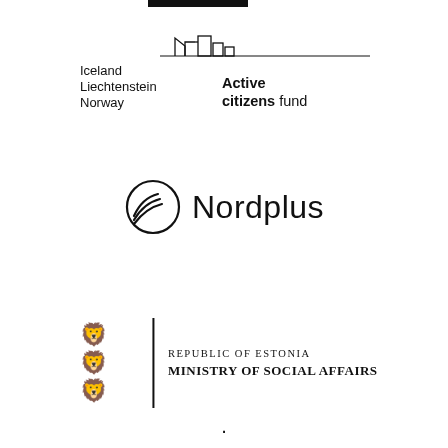[Figure (logo): EEA Grants / Active Citizens Fund logo with stylized building skyline graphic, text: Iceland Liechtenstein Norway | Active citizens fund]
[Figure (logo): Nordplus logo with circular wing/globe icon and text 'Nordplus']
[Figure (logo): Republic of Estonia Ministry of Social Affairs logo with three lions coat of arms, vertical divider, and text 'Republic of Estonia Ministry of Social Affairs']